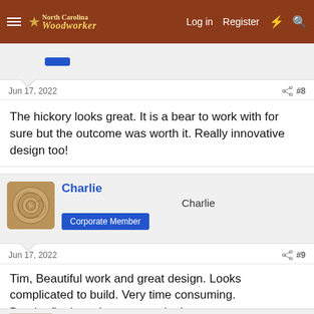North Carolina Woodworker | Log in | Register
The hickory looks great. It is a bear to work with for sure but the outcome was worth it. Really innovative design too!
Jun 17, 2022  #8
Charlie  Charlie  Corporate Member
Jun 17, 2022  #9
Tim, Beautiful work and great design. Looks complicated to build. Very time consuming.
But the final results are stunning!
Tim Sherwood  Tim